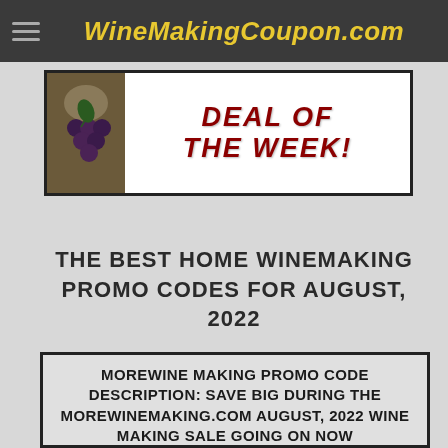WineMakingCoupon.com
[Figure (illustration): Deal of the Week banner with grape image on left and red bold italic text 'DEAL OF THE WEEK!' on right, inside a black border box]
THE BEST HOME WINEMAKING PROMO CODES FOR AUGUST, 2022
MOREWINE MAKING PROMO CODE DESCRIPTION: SAVE BIG DURING THE MOREWINEMAKING.COM AUGUST, 2022 WINE MAKING SALE GOING ON NOW
COUPON CODE DATE: 08/27/2022 TO